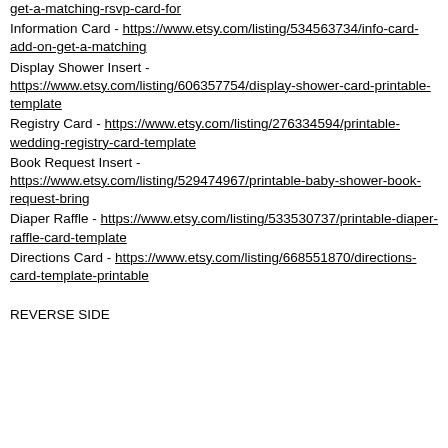get-a-matching-rsvp-card-for
Information Card - https://www.etsy.com/listing/534563734/info-card-add-on-get-a-matching
Display Shower Insert - https://www.etsy.com/listing/606357754/display-shower-card-printable-template
Registry Card - https://www.etsy.com/listing/276334594/printable-wedding-registry-card-template
Book Request Insert - https://www.etsy.com/listing/529474967/printable-baby-shower-book-request-bring
Diaper Raffle - https://www.etsy.com/listing/533530737/printable-diaper-raffle-card-template
Directions Card - https://www.etsy.com/listing/668551870/directions-card-template-printable
REVERSE SIDE